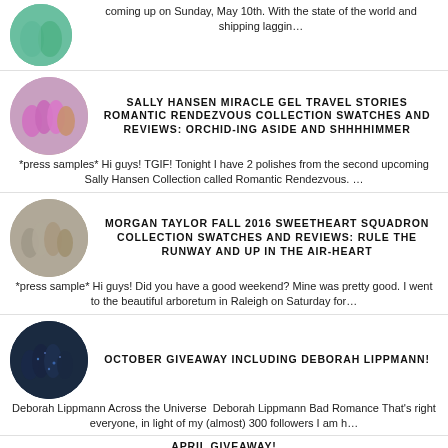coming up on Sunday, May 10th. With the state of the world and shipping laggin…
SALLY HANSEN MIRACLE GEL TRAVEL STORIES ROMANTIC RENDEZVOUS COLLECTION SWATCHES AND REVIEWS: ORCHID-ING ASIDE AND SHHHHIMMER
*press samples* Hi guys! TGIF! Tonight I have 2 polishes from the second upcoming Sally Hansen Collection called Romantic Rendezvous. …
MORGAN TAYLOR FALL 2016 SWEETHEART SQUADRON COLLECTION SWATCHES AND REVIEWS: RULE THE RUNWAY AND UP IN THE AIR-HEART
*press sample* Hi guys! Did you have a good weekend? Mine was pretty good. I went to the beautiful arboretum in Raleigh on Saturday for…
OCTOBER GIVEAWAY INCLUDING DEBORAH LIPPMANN!
Deborah Lippmann Across the Universe  Deborah Lippmann Bad Romance That's right everyone, in light of my (almost) 300 followers I am h…
APRIL GIVEAWAY!